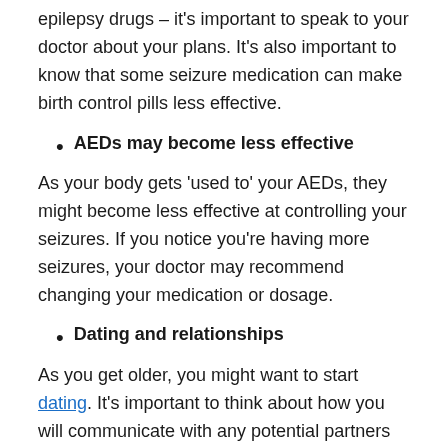epilepsy drugs – it's important to speak to your doctor about your plans. It's also important to know that some seizure medication can make birth control pills less effective.
AEDs may become less effective
As your body gets 'used to' your AEDs, they might become less effective at controlling your seizures. If you notice you're having more seizures, your doctor may recommend changing your medication or dosage.
Dating and relationships
As you get older, you might want to start dating. It's important to think about how you will communicate with any potential partners about